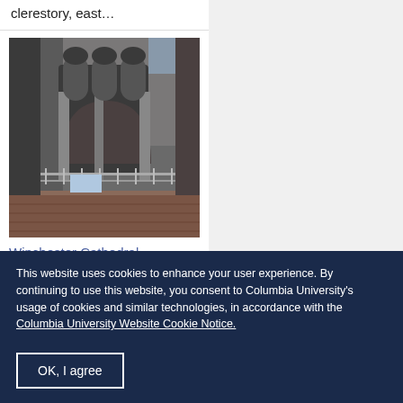clerestory, east…
[Figure (photo): Interior photograph of Winchester Cathedral showing the south transept with Romanesque arches, stone columns, and metal railings on a gallery level]
Winchester Cathedral
Interior, south transept
This website uses cookies to enhance your user experience. By continuing to use this website, you consent to Columbia University's usage of cookies and similar technologies, in accordance with the Columbia University Website Cookie Notice.
OK, I agree